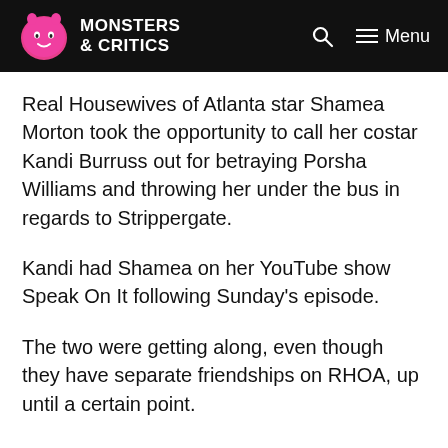MONSTERS & CRITICS
Real Housewives of Atlanta star Shamea Morton took the opportunity to call her costar Kandi Burruss out for betraying Porsha Williams and throwing her under the bus in regards to Strippergate.
Kandi had Shamea on her YouTube show Speak On It following Sunday's episode.
The two were getting along, even though they have separate friendships on RHOA, up until a certain point.